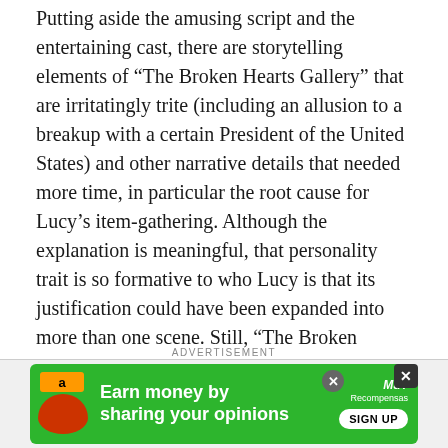Putting aside the amusing script and the entertaining cast, there are storytelling elements of “The Broken Hearts Gallery” that are irritatingly trite (including an allusion to a breakup with a certain President of the United States) and other narrative details that needed more time, in particular the root cause for Lucy’s item-gathering. Although the explanation is meaningful, that personality trait is so formative to who Lucy is that its justification could have been expanded into more than one scene. Still, “The Broken Hearts Gallery” is so committed in its empathy toward the unlucky in love, and benefits so much from Viswanathan’s vibrant performance in support of that compassion, that overlooking those flaws—just like rooting for Nick and Lucy—is easy to do.
ADVERTISEMENT
[Figure (other): Advertisement banner with green background. Amazon logo top left, coin/money graphic. Text reads 'Earn money by sharing your opinions'. MuT Recompensas logo and SIGN UP button on right. Two close buttons visible.]